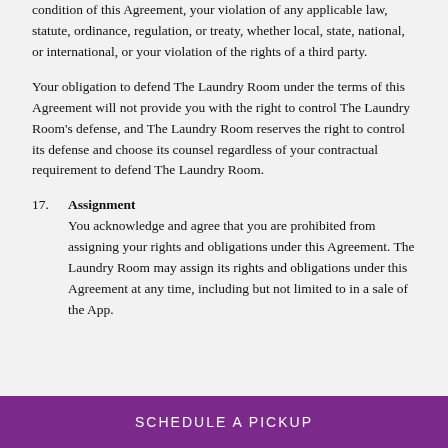condition of this Agreement, your violation of any applicable law, statute, ordinance, regulation, or treaty, whether local, state, national, or international, or your violation of the rights of a third party.
Your obligation to defend The Laundry Room under the terms of this Agreement will not provide you with the right to control The Laundry Room's defense, and The Laundry Room reserves the right to control its defense and choose its counsel regardless of your contractual requirement to defend The Laundry Room.
17. Assignment
You acknowledge and agree that you are prohibited from assigning your rights and obligations under this Agreement. The Laundry Room may assign its rights and obligations under this Agreement at any time, including but not limited to in a sale of the App.
SCHEDULE A PICKUP